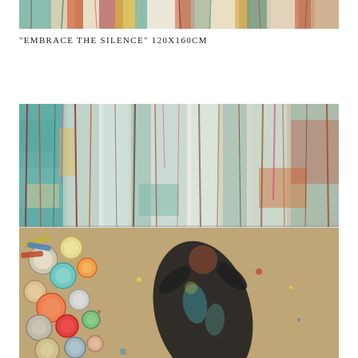[Figure (photo): Top strip image showing a colorful abstract painting with dripping paint in teal, red, yellow, pink, and white colors, hung or laid flat.]
"EMBRACE THE SILENCE" 120X160CM
[Figure (photo): Large composite photo: top half shows a colorful drip-style abstract painting with teal, red, yellow, and white painted vertical streaks; bottom half shows an aerial view of an artist lying on a paint-splattered floor surrounded by open paint containers and tubes, wearing paint-covered black clothing.]